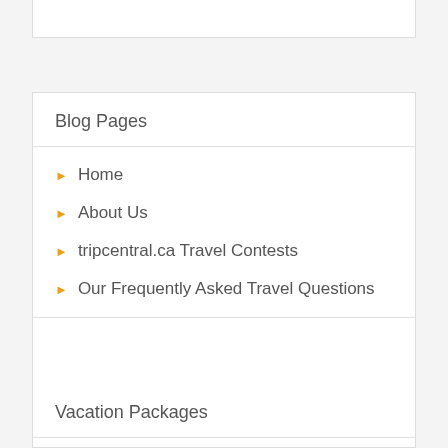Blog Pages
Home
About Us
tripcentral.ca Travel Contests
Our Frequently Asked Travel Questions
Vacation Packages